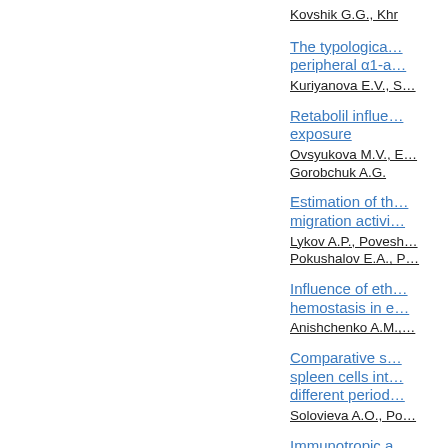Kovshik G.G., Khr…
The typologica… peripheral α1-a…
Kuriyanova E.V., S…
Retabolil influe… exposure
Ovsyukova M.V., E…
Gorobchuk A.G.
Estimation of th… migration activi…
Lykov A.P., Povesh…
Pokushalov E.A., P…
Influence of eth… hemostasis in e…
Anishchenko A.M.,…
Comparative s… spleen cells int… different period…
Solovieva A.O., Po…
Immunotropic a…